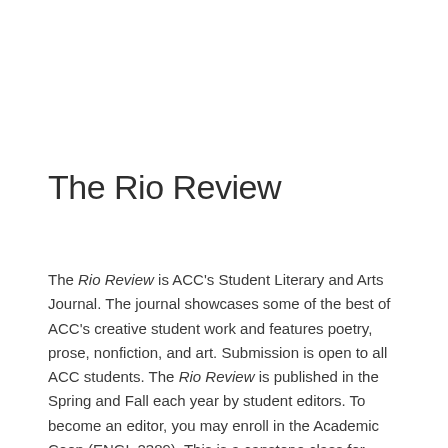The Rio Review
The Rio Review is ACC's Student Literary and Arts Journal. The journal showcases some of the best of ACC's creative student work and features poetry, prose, nonfiction, and art. Submission is open to all ACC students. The Rio Review is published in the Spring and Fall each year by student editors. To become an editor, you may enroll in the Academic Coop (ENGL 2389). This is a capstone class for Creative Writing